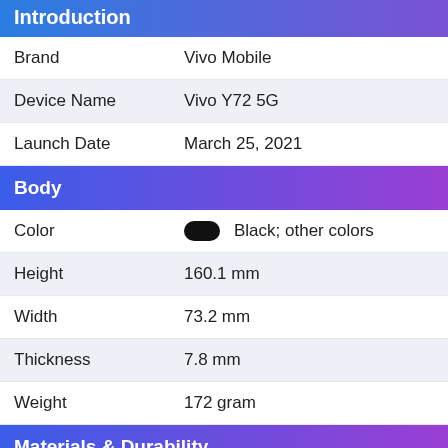Introduction
| Attribute | Value |
| --- | --- |
| Brand | Vivo Mobile |
| Device Name | Vivo Y72 5G |
| Launch Date | March 25, 2021 |
Body
| Attribute | Value |
| --- | --- |
| Color | Black; other colors |
| Height | 160.1 mm |
| Width | 73.2 mm |
| Thickness | 7.8 mm |
| Weight | 172 gram |
Materials & Durability
Hurry! $100 Off on Galaxy A53